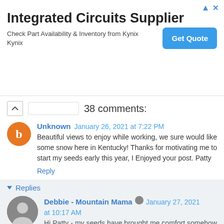[Figure (infographic): Advertisement banner for Integrated Circuits Supplier - Kynix, with Get Quote button]
38 comments:
Unknown January 26, 2021 at 7:22 PM
Beautiful views to enjoy while working, we sure would like some snow here in Kentucky! Thanks for motivating me to start my seeds early this year, I Enjoyed your post. Patty
Reply
Replies
Debbie - Mountain Mama January 27, 2021 at 10:17 AM
Hi Patty - my seeds have brought me comfort somehow this year - maybe it's the promise of what's to come, and something to look forward